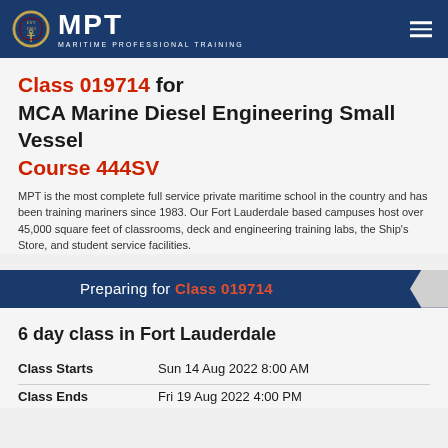MPT MARITIME PROFESSIONAL TRAINING
Class 019714 for MCA Marine Diesel Engineering Small Vessel Course 444SV
MPT is the most complete full service private maritime school in the country and has been training mariners since 1983. Our Fort Lauderdale based campuses host over 45,000 square feet of classrooms, deck and engineering training labs, the Ship's Store, and student service facilities.
Preparing for Class 019714
6 day class in Fort Lauderdale
|  |  |
| --- | --- |
| Class Starts | Sun 14 Aug 2022 8:00 AM |
| Class Ends | Fri 19 Aug 2022 4:00 PM |